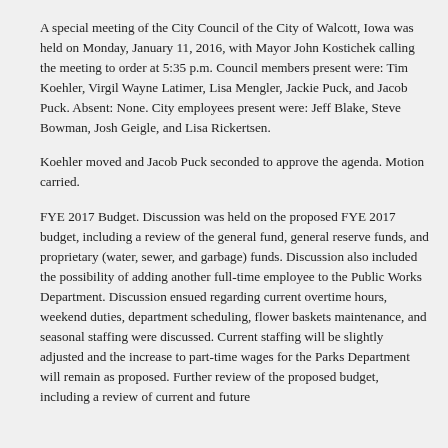A special meeting of the City Council of the City of Walcott, Iowa was held on Monday, January 11, 2016, with Mayor John Kostichek calling the meeting to order at 5:35 p.m. Council members present were: Tim Koehler, Virgil Wayne Latimer, Lisa Mengler, Jackie Puck, and Jacob Puck. Absent: None. City employees present were: Jeff Blake, Steve Bowman, Josh Geigle, and Lisa Rickertsen.
Koehler moved and Jacob Puck seconded to approve the agenda. Motion carried.
FYE 2017 Budget. Discussion was held on the proposed FYE 2017 budget, including a review of the general fund, general reserve funds, and proprietary (water, sewer, and garbage) funds. Discussion also included the possibility of adding another full-time employee to the Public Works Department. Discussion ensued regarding current overtime hours, weekend duties, department scheduling, flower baskets maintenance, and seasonal staffing were discussed. Current staffing will be slightly adjusted and the increase to part-time wages for the Parks Department will remain as proposed. Further review of the proposed budget, including a review of current and future